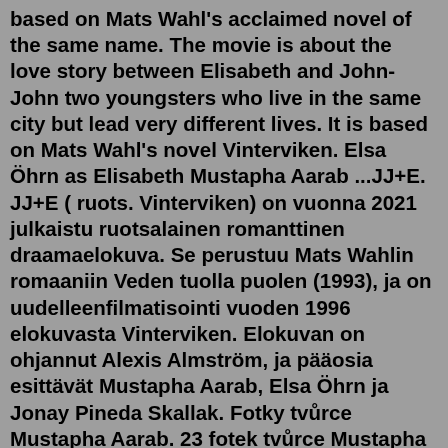based on Mats Wahl's acclaimed novel of the same name. The movie is about the love story between Elisabeth and John-John two youngsters who live in the same city but lead very different lives. It is based on Mats Wahl's novel Vinterviken. Elsa Öhrn as Elisabeth Mustapha Aarab ...JJ+E. JJ+E ( ruots. Vinterviken) on vuonna 2021 julkaistu ruotsalainen romanttinen draamaelokuva. Se perustuu Mats Wahlin romaaniin Veden tuolla puolen (1993), ja on uudelleenfilmatisointi vuoden 1996 elokuvasta Vinterviken. Elokuvan on ohjannut Alexis Almström, ja pääosia esittävät Mustapha Aarab, Elsa Öhrn ja Jonay Pineda Skallak. Fotky tvůrce Mustapha Aarab. 23 fotek tvůrce Mustapha Aarab z filmů, seriálů a zákulisí natáčení. Mustapha Aàrab is on Facebook. Join Facebook to connect with Mustapha Aàrab and others you may know. Facebook gives people the power to share and makes the world more open and connected. ...JJ+E (Swedish: Vinterviken) is a Swedish romance film directed by Alexis Almström and written by Denis Vaisman. It is based on Mats...